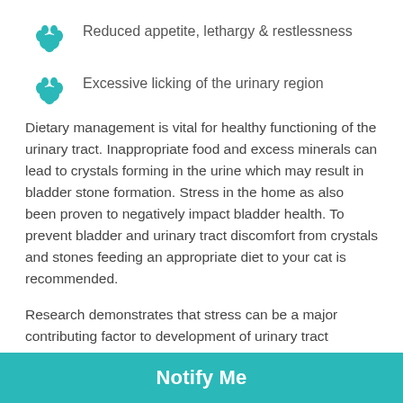Reduced appetite, lethargy & restlessness
Excessive licking of the urinary region
Dietary management is vital for healthy functioning of the urinary tract. Inappropriate food and excess minerals can lead to crystals forming in the urine which may result in bladder stone formation. Stress in the home as also been proven to negatively impact bladder health. To prevent bladder and urinary tract discomfort from crystals and stones feeding an appropriate diet to your cat is recommended.
Research demonstrates that stress can be a major contributing factor to development of urinary tract disease in cats, such as feline idiopathic cystitis (FIC). Hills c/d Urinary Stress is a tasty wet food that has been formulated by veterinarians and nutritionists to support your cats urinary health and manage stress. This diet contains milk protein which is proven to relieve anxiety in cats. It also has L-
Notify Me